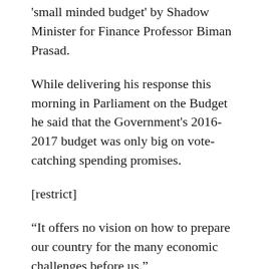'small minded budget' by Shadow Minister for Finance Professor Biman Prasad.
While delivering his response this morning in Parliament on the Budget he said that the Government's 2016-2017 budget was only big on vote-catching spending promises.
[restrict]
“It offers no vision on how to prepare our country for the many economic challenges before us.”
Prasad backed his statement by using an example of how Fiji would face a crash in economic returns for sugar come 2017.